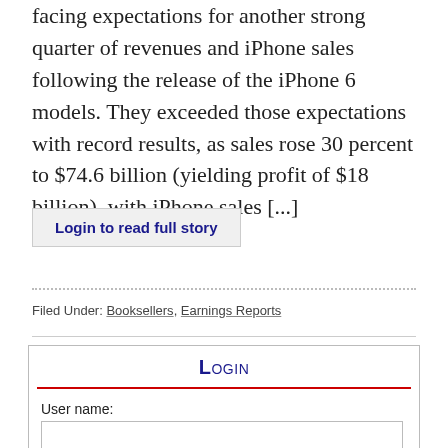facing expectations for another strong quarter of revenues and iPhone sales following the release of the iPhone 6 models. They exceeded those expectations with record results, as sales rose 30 percent to $74.6 billion (yielding profit of $18 billion), with iPhone sales [...]
Login to read full story
Filed Under: Booksellers, Earnings Reports
LOGIN
User name:
Password: